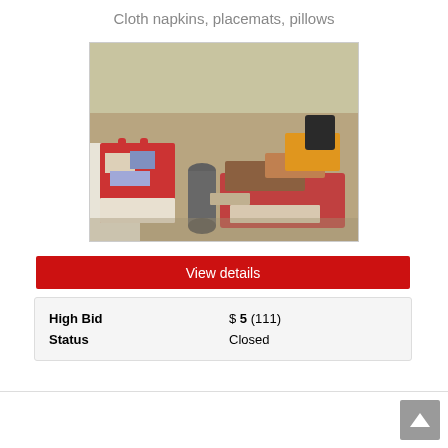Cloth napkins, placemats, pillows
[Figure (photo): Photo of a pile of cloth items including napkins, placemats, and pillows on a floor, with a red shopping bag on the left containing various fabrics and a gray cylindrical object in the center.]
View details
| High Bid | $ 5 (111) |
| Status | Closed |